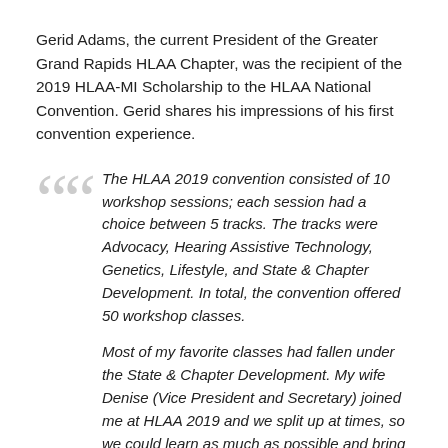Gerid Adams, the current President of the Greater Grand Rapids HLAA Chapter, was the recipient of the 2019 HLAA-MI Scholarship to the HLAA National Convention. Gerid shares his impressions of his first convention experience.
The HLAA 2019 convention consisted of 10 workshop sessions; each session had a choice between 5 tracks. The tracks were Advocacy, Hearing Assistive Technology, Genetics, Lifestyle, and State & Chapter Development. In total, the convention offered 50 workshop classes.
Most of my favorite classes had fallen under the State & Chapter Development. My wife Denise (Vice President and Secretary) joined me at HLAA 2019 and we split up at times, so we could learn as much as possible and bring that knowledge back to our Chapter and apply it.